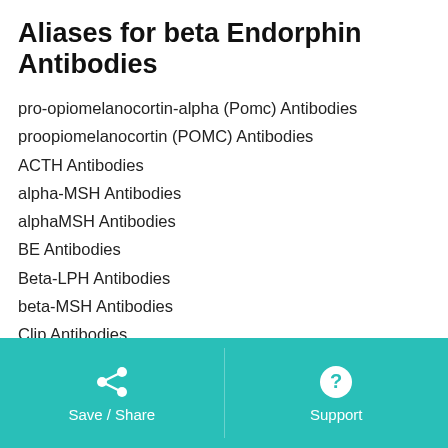Aliases for beta Endorphin Antibodies
pro-opiomelanocortin-alpha (Pomc) Antibodies
proopiomelanocortin (POMC) Antibodies
ACTH Antibodies
alpha-MSH Antibodies
alphaMSH Antibodies
BE Antibodies
Beta-LPH Antibodies
beta-MSH Antibodies
Clip Antibodies
CLIP Antibodies
Gamma-LPH Antibodies
gamma-MSH Antibodies
LPH Antibodies
Save / Share | Support